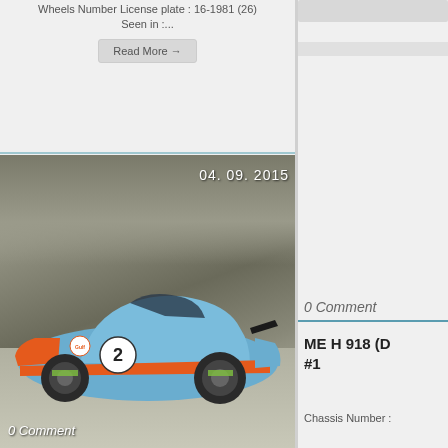Wheels Number License plate : 16-1981 (26) Seen in :...
Read More →
[Figure (photo): Porsche 918 Spyder in Gulf livery (light blue with orange stripe, #2 roundel) photographed in a parking garage, dated 04. 09. 2015]
0 Comment
0 Comment
ME H 918 (D #1
Chassis Number :